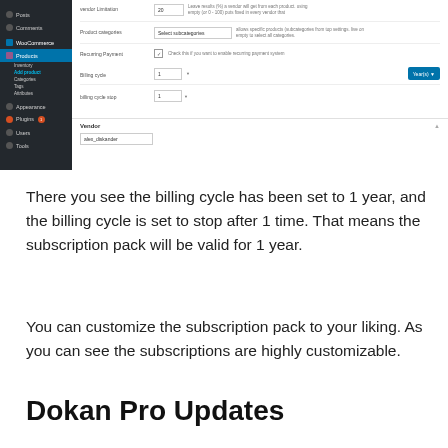[Figure (screenshot): WordPress admin panel screenshot showing WooCommerce product settings with sidebar navigation (Posts, Comments, WooCommerce, Products with sub-items) and a form with fields: vendor limitation (20), product categories, recurring payment checkbox, billing cycle (1 year), billing cycle stop (1), and a Vendor dropdown (alex_diskander).]
There you see the billing cycle has been set to 1 year, and the billing cycle is set to stop after 1 time. That means the subscription pack will be valid for 1 year.
You can customize the subscription pack to your liking. As you can see the subscriptions are highly customizable.
Dokan Pro Updates